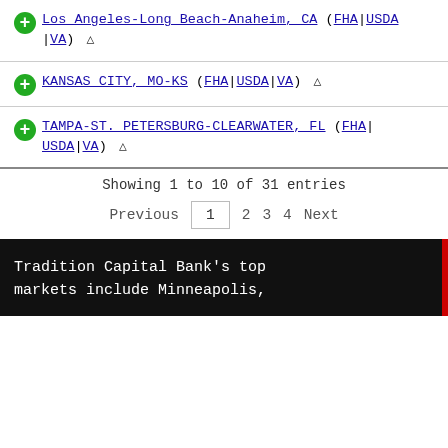Los Angeles-Long Beach-Anaheim, CA (FHA|USDA|VA) [filter]
KANSAS CITY, MO-KS (FHA|USDA|VA) [filter]
TAMPA-ST. PETERSBURG-CLEARWATER, FL (FHA|USDA|VA) [filter]
Showing 1 to 10 of 31 entries
Previous 1 2 3 4 Next
Tradition Capital Bank's top markets include Minneapolis,